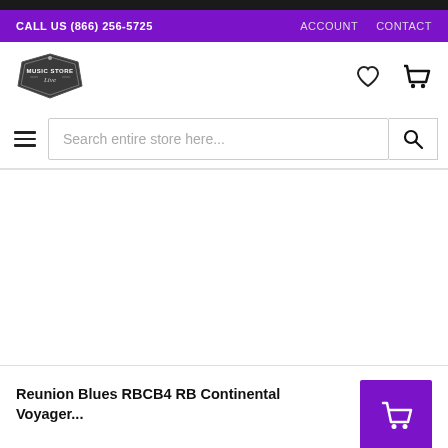CALL US (866) 256-5725   ACCOUNT   CONTACT
[Figure (logo): Music Store Live badge logo]
Search entire store here...
Reunion Blues RBCB4 RB Continental Voyager...
$249.95